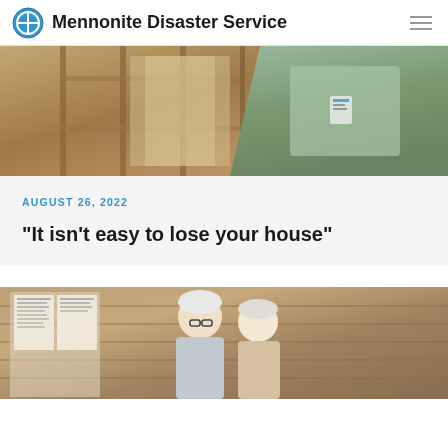Mennonite Disaster Service
[Figure (photo): Photo of a person in a light green shirt standing inside a building under construction with exposed wooden framing and studs visible]
AUGUST 26, 2022
“It isn’t easy to lose your house”
[Figure (photo): Photo of two elderly people standing together indoors, in front of a wooden paneled wall with papers/notices posted on the left side]